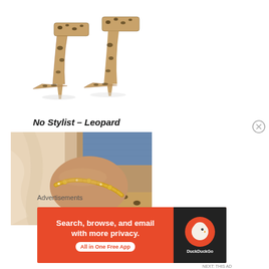[Figure (photo): Product photo of leopard print ankle-strap high heel stiletto shoes on white background]
No Stylist – Leopard
[Figure (photo): Close-up lifestyle photo of a person's ankle wearing a gold chain bracelet/anklet, with leopard print fabric visible at edge, blue denim jeans above, and beige/cream fabric in background]
Advertisements
[Figure (infographic): DuckDuckGo advertisement banner with orange background. Text: 'Search, browse, and email with more privacy. All in One Free App'. DuckDuckGo logo on dark background on right side.]